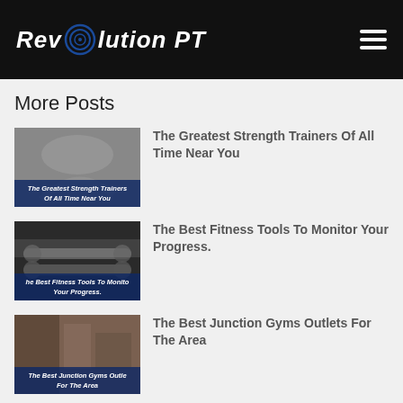Revolution PT
More Posts
[Figure (photo): Thumbnail image of person stretching with text overlay: The Greatest Strength Trainers Of All Time Near You]
The Greatest Strength Trainers Of All Time Near You
[Figure (photo): Thumbnail image of fitness equipment/weights with text overlay: The Best Fitness Tools To Monitor Your Progress.]
The Best Fitness Tools To Monitor Your Progress.
[Figure (photo): Thumbnail image of gym interior with text overlay: The Best Junction Gyms Outlets For The Area]
The Best Junction Gyms Outlets For The Area